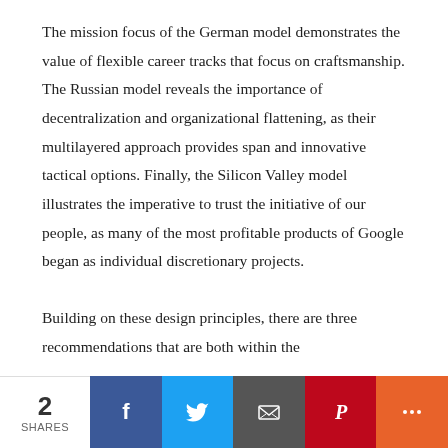The mission focus of the German model demonstrates the value of flexible career tracks that focus on craftsmanship. The Russian model reveals the importance of decentralization and organizational flattening, as their multilayered approach provides span and innovative tactical options. Finally, the Silicon Valley model illustrates the imperative to trust the initiative of our people, as many of the most profitable products of Google began as individual discretionary projects.
Building on these design principles, there are three recommendations that are both within the
2 SHARES | Facebook | Twitter | Email | Pinterest | More